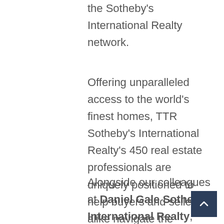the Sotheby's International Realty network.
Offering unparalleled access to the world's finest homes, TTR Sotheby's International Realty's 450 real estate professionals are uniquely positioned to help buyers and sellers alike navigate the dynamics of our ever-changing real estate market.
Alongside our colleagues at Daniel Gale Sotheby's International Realty, whose service areas include Long Island, Queens, and Suffolk, we encourage you